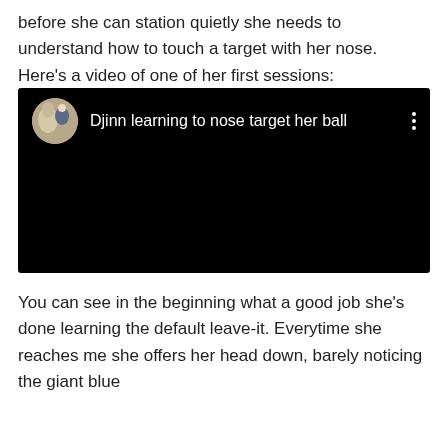before she can station quietly she needs to understand how to touch a target with her nose. Here's a video of one of her first sessions:
[Figure (screenshot): YouTube-style video thumbnail showing a black background with a circular profile picture (showing a horse and a woman) on the left, followed by the title 'Djinn learning to nose target her ball' in white text, and a vertical three-dot menu icon on the right.]
You can see in the beginning what a good job she's done learning the default leave-it. Everytime she reaches me she offers her head down, barely noticing the giant blue